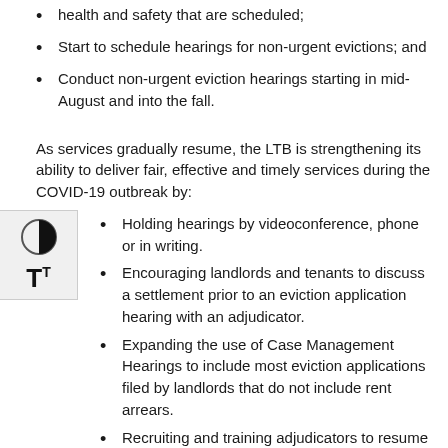health and safety that are scheduled;
Start to schedule hearings for non-urgent evictions; and
Conduct non-urgent eviction hearings starting in mid-August and into the fall.
As services gradually resume, the LTB is strengthening its ability to deliver fair, effective and timely services during the COVID-19 outbreak by:
Holding hearings by videoconference, phone or in writing.
Encouraging landlords and tenants to discuss a settlement prior to an eviction application hearing with an adjudicator.
Expanding the use of Case Management Hearings to include most eviction applications filed by landlords that do not include rent arrears.
Recruiting and training adjudicators to resume full service.
“Today, we are announcing the expansion of services at the Landlord and Tenant Board to address the effects of COVID-19 and the needs of tenants and landlords,” said Sean Weir